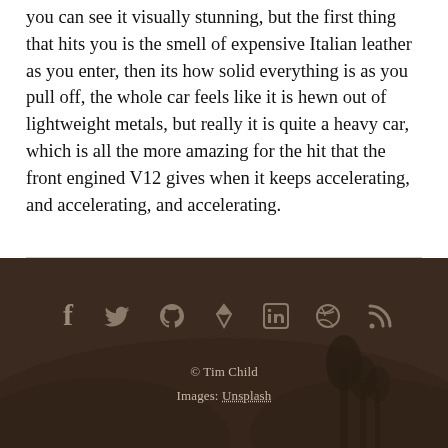you can see it visually stunning, but the first thing that hits you is the smell of expensive Italian leather as you enter, then its how solid everything is as you pull off, the whole car feels like it is hewn out of lightweight metals, but really it is quite a heavy car, which is all the more amazing for the hit that the front engined V12 gives when it keeps accelerating, and accelerating, and accelerating.
[Figure (infographic): Social media icons row: Facebook, Twitter, GitHub, GitLab/diamond, LinkedIn, Dribbble, RSS feed — displayed on a dark brownish footer background with landscape scenery]
© Tim Child
Images: Unsplash